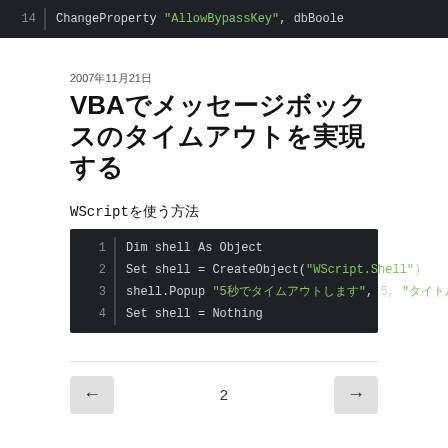[Figure (screenshot): Code snippet showing line 14: ChangeProperty "AllowBypassKey", dbBoole (truncated)]
2007年11月21日
VBAでメッセージボックスのタイムアウトを実現する
WScriptを使う方法
[Figure (screenshot): Code block showing VBA code: 1 Dim shell As Object, 2 Set shell = CreateObject("WScript.Shell"), 3 shell.Popup "5秒でタイムアウトします", 5, "タイトル",  4 Set shell = Nothing]
2